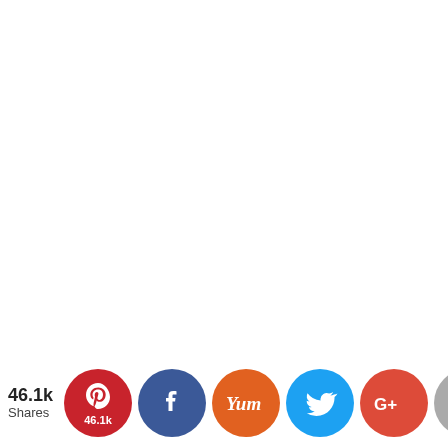[Figure (infographic): Social sharing bar with share count (46.1k Shares) and circular icon buttons for Pinterest (46.1k), Facebook, Yummly, Twitter, Google+, Email, and a crown/Mavrck icon.]